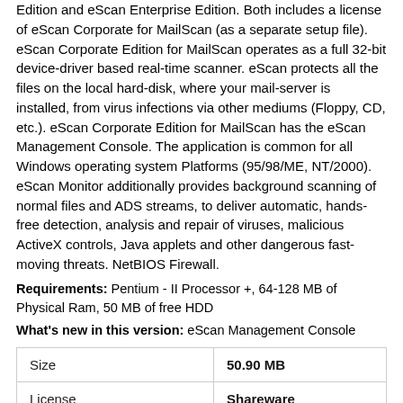Edition and eScan Enterprise Edition. Both includes a license of eScan Corporate for MailScan (as a separate setup file). eScan Corporate Edition for MailScan operates as a full 32-bit device-driver based real-time scanner. eScan protects all the files on the local hard-disk, where your mail-server is installed, from virus infections via other mediums (Floppy, CD, etc.). eScan Corporate Edition for MailScan has the eScan Management Console. The application is common for all Windows operating system Platforms (95/98/ME, NT/2000). eScan Monitor additionally provides background scanning of normal files and ADS streams, to deliver automatic, hands-free detection, analysis and repair of viruses, malicious ActiveX controls, Java applets and other dangerous fast-moving threats. NetBIOS Firewall.
Requirements: Pentium - II Processor +, 64-128 MB of Physical Ram, 50 MB of free HDD
What's new in this version: eScan Management Console
| Size | 50.90 MB |
| License | Shareware |
| OS | Windows |
| Price | $99.99 Buy full version |